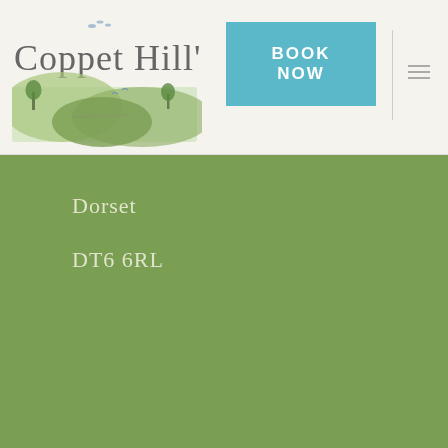[Figure (logo): Coppet Hill logo with text and decorative landscape illustration with birds]
[Figure (other): BOOK NOW button in teal/cyan color]
Dorset
DT6 6RL